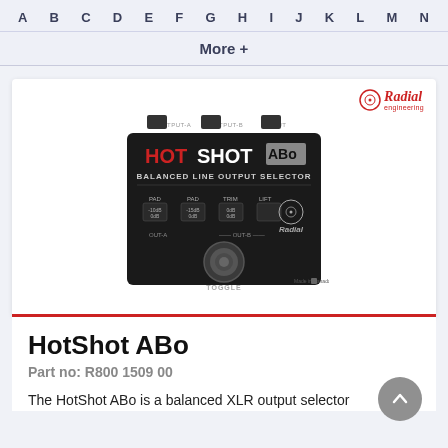A B C D E F G H I J K L M N
More +
[Figure (photo): Radial HotShot ABo balanced line output selector pedal device, black metal enclosure with red and white labeling, toggle footswitch, shown from above at slight angle. Radial Engineering logo top-right of card.]
HotShot ABo
Part no: R800 1509 00
The HotShot ABo is a balanced XLR output selector